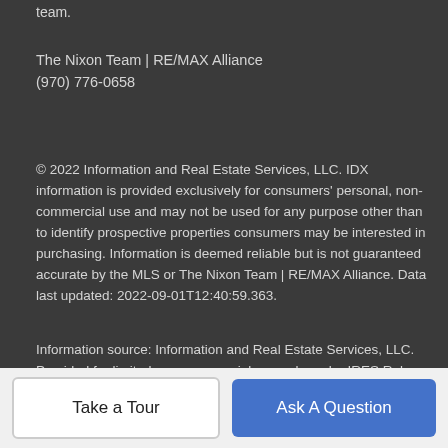team.
The Nixon Team | RE/MAX Alliance
(970) 776-0658
© 2022 Information and Real Estate Services, LLC. IDX information is provided exclusively for consumers' personal, non-commercial use and may not be used for any purpose other than to identify prospective properties consumers may be interested in purchasing. Information is deemed reliable but is not guaranteed accurate by the MLS or The Nixon Team | RE/MAX Alliance. Data last updated: 2022-09-01T12:40:59.363.
Information source: Information and Real Estate Services, LLC. Provided for limited non-commercial use only under IRES Rules © Copyright IRES.
Take a Tour
Ask A Question